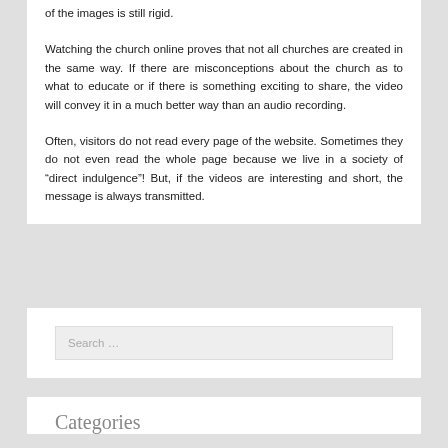of the images is still rigid.
Watching the church online proves that not all churches are created in the same way. If there are misconceptions about the church as to what to educate or if there is something exciting to share, the video will convey it in a much better way than an audio recording.
Often, visitors do not read every page of the website. Sometimes they do not even read the whole page because we live in a society of “direct indulgence”! But, if the videos are interesting and short, the message is always transmitted.
Search …
Categories